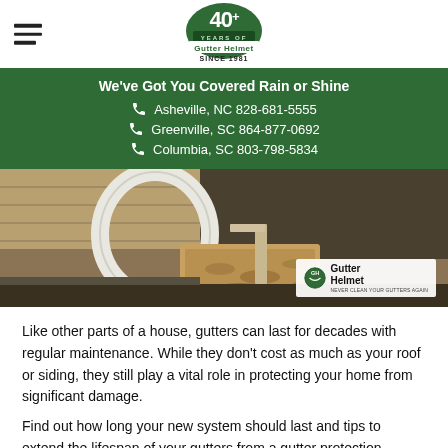Gutter Helmet — 40+ Years Since 1981
We've Got You Covered Rain or Shine
Asheville, NC 828-681-5555
Greenville, SC 864-877-0692
Columbia, SC 803-798-5834
[Figure (photo): Close-up photo of clogged gutters on a house roof showing debris buildup, with a white gutter downspout visible. Gutter Helmet logo watermark in lower right corner.]
Like other parts of a house, gutters can last for decades with regular maintenance. While they don't cost as much as your roof or siding, they still play a vital role in protecting your home from significant damage.
Find out how long your new system should last and tips to extend the lifespan of your gutters from a gutter protection expert.